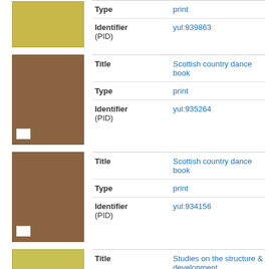[Figure (photo): Thumbnail of a yellow book cover]
| Type | print |
| Identifier (PID) | yul:939863 |
[Figure (photo): Thumbnail of a brown book cover - Scottish country dance book]
| Title | Scottish country dance book |
| Type | print |
| Identifier (PID) | yul:935264 |
[Figure (photo): Thumbnail of a brown book cover - Scottish country dance book]
| Title | Scottish country dance book |
| Type | print |
| Identifier (PID) | yul:934156 |
[Figure (photo): Thumbnail of a yellow-green book cover]
Title
Studies on the structure & development